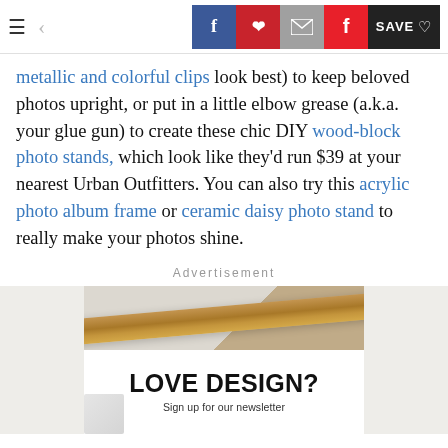Navigation bar with hamburger menu, back arrow, Facebook, Pinterest, Email, Flipboard share buttons, and SAVE button
metallic and colorful clips look best) to keep beloved photos upright, or put in a little elbow grease (a.k.a. your glue gun) to create these chic DIY wood-block photo stands, which look like they'd run $39 at your nearest Urban Outfitters. You can also try this acrylic photo album frame or ceramic daisy photo stand to really make your photos shine.
Advertisement
[Figure (photo): Advertisement image showing a wood plank and a white box with 'LOVE DESIGN?' headline and 'Sign up for our newsletter' subtext]